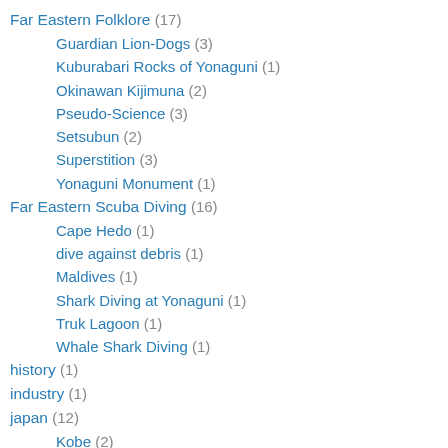Far Eastern Folklore (17)
Guardian Lion-Dogs (3)
Kuburabari Rocks of Yonaguni (1)
Okinawan Kijimuna (2)
Pseudo-Science (3)
Setsubun (2)
Superstition (3)
Yonaguni Monument (1)
Far Eastern Scuba Diving (16)
Cape Hedo (1)
dive against debris (1)
Maldives (1)
Shark Diving at Yonaguni (1)
Truk Lagoon (1)
Whale Shark Diving (1)
history (1)
industry (1)
japan (12)
Kobe (2)
Yonaguni-jima (1)